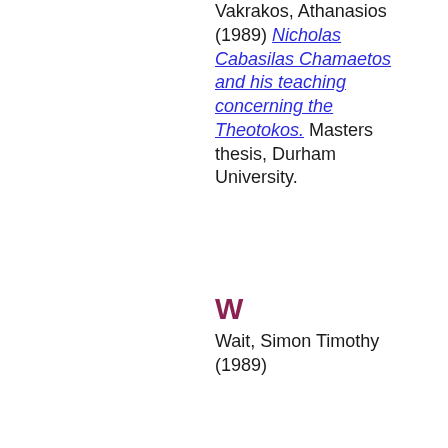Vakrakos, Athanasios (1989) Nicholas Cabasilas Chamaetos and his teaching concerning the Theotokos. Masters thesis, Durham University.
W
Wait, Simon Timothy (1989)